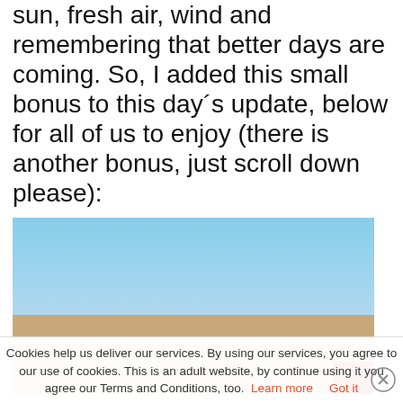sun, fresh air, wind and remembering that better days are coming. So, I added this small bonus to this day´s update, below for all of us to enjoy (there is another bonus, just scroll down please):
[Figure (photo): Outdoor photo of a person in a pink/black outfit against a blue sky background, with a red block in the lower right corner.]
Cookies help us deliver our services. By using our services, you agree to our use of cookies. This is an adult website, by continue using it you agree our Terms and Conditions, too. Learn more   Got it